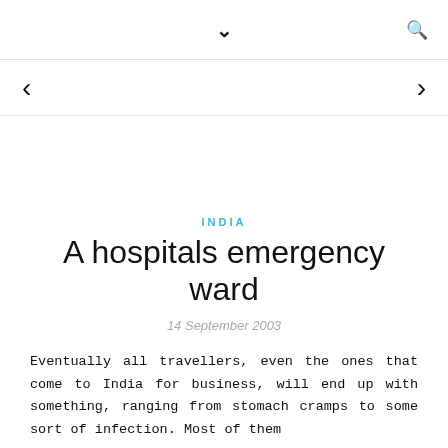∨  🔍
< >
INDIA
A hospitals emergency ward
14 September 2003
Eventually all travellers, even the ones that come to India for business, will end up with something, ranging from stomach cramps to some sort of infection. Most of them